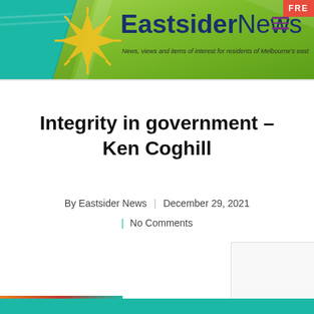[Figure (logo): Eastsider News website header banner with green diagonal stripe, sun logo, site name 'EastsiderNews', tagline, and teal background]
Integrity in government – Ken Coghill
By Eastsider News | December 29, 2021
| No Comments